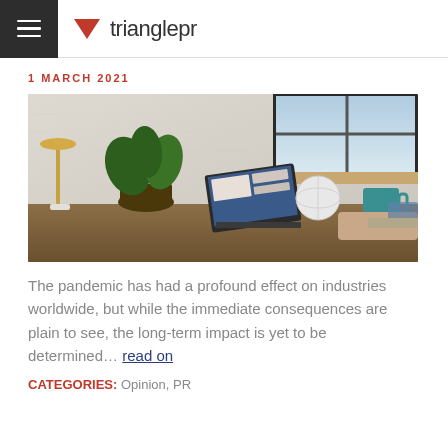trianglepr
1 MARCH 2021
[Figure (photo): Person working at a desk with a laptop, plant, globe ornament, desk lamp, and coffee mug on a wooden surface against a white brick wall with a window.]
The pandemic has had a profound effect on industries worldwide, but while the immediate consequences are plain to see, the long-term impact is yet to be determined… read on
CATEGORIES: Opinion, PR